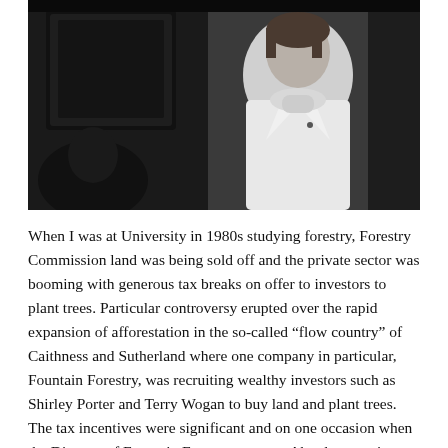[Figure (photo): Black and white photograph of a woman wearing a white coat and scarf, standing in front of what appears to be a dark background with some equipment or furniture visible to the left.]
When I was at University in 1980s studying forestry, Forestry Commission land was being sold off and the private sector was booming with generous tax breaks on offer to investors to plant trees. Particular controversy erupted over the rapid expansion of afforestation in the so-called “flow country” of Caithness and Sutherland where one company in particular, Fountain Forestry, was recruiting wealthy investors such as Shirley Porter and Terry Wogan to buy land and plant trees. The tax incentives were significant and on one occasion when the Director of Fountain Forestry came to Aberdeen to give a lecture I asked a question at the end hits talk. “Why”, I asked, “is the government giving